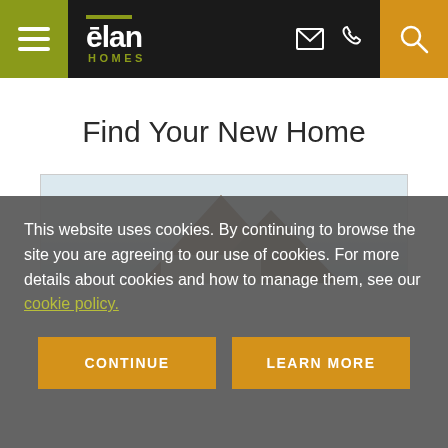Elan Homes - navigation header with menu, logo, email, phone, search icons
Find Your New Home
[Figure (photo): Partial view of a house roofline against a light sky background]
This website uses cookies. By continuing to browse the site you are agreeing to our use of cookies. For more details about cookies and how to manage them, see our cookie policy.
CONTINUE | LEARN MORE